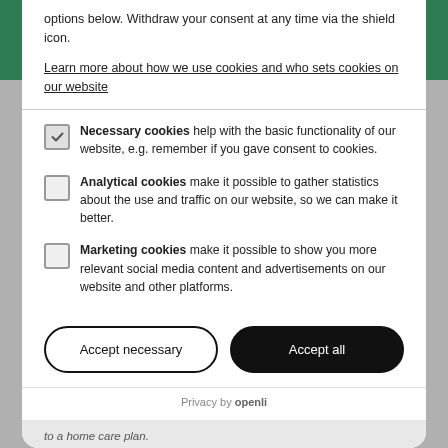options below. Withdraw your consent at any time via the shield icon.
Learn more about how we use cookies and who sets cookies on our website
Necessary cookies help with the basic functionality of our website, e.g. remember if you gave consent to cookies.
Analytical cookies make it possible to gather statistics about the use and traffic on our website, so we can make it better.
Marketing cookies make it possible to show you more relevant social media content and advertisements on our website and other platforms.
Accept necessary | Accept all
Privacy by openli
to a home care plan.